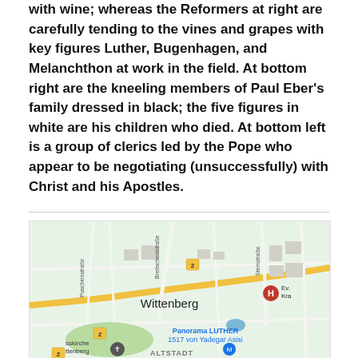with wine; whereas the Reformers at right are carefully tending to the vines and grapes with key figures Luther, Bugenhagen, and Melanchthon at work in the field. At bottom right are the kneeling members of Paul Eber's family dressed in black; the five figures in white are his children who died. At bottom left is a group of clerics led by the Pope who appear to be negotiating (unsuccessfully) with Christ and his Apostles.
[Figure (map): Google Maps screenshot showing Wittenberg city center with streets including Breitscheidstraße, Sternstraße, Puschkinstraße. Shows labels for Wittenberg, Panorama LUTHER 1517 von Yadegar Asisi, ALTSTADT, Ev. Kra (hospital), sskirche ttenberg (church marker), and route number 2 markers.]